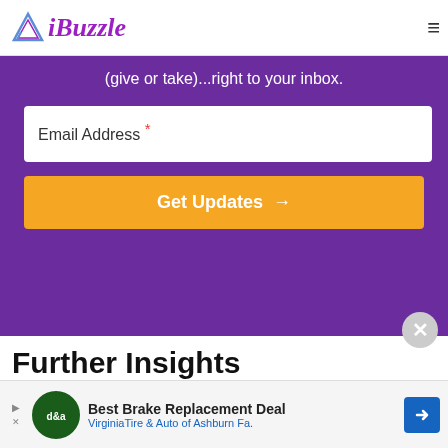iBuzzle
(give or take)...right to your inbox.
Email Address *
Get Updates →
Further Insights
[Figure (screenshot): Advertisement banner: Best Brake Replacement Deal - VirginiaTire & Auto of Ashburn Fa.]